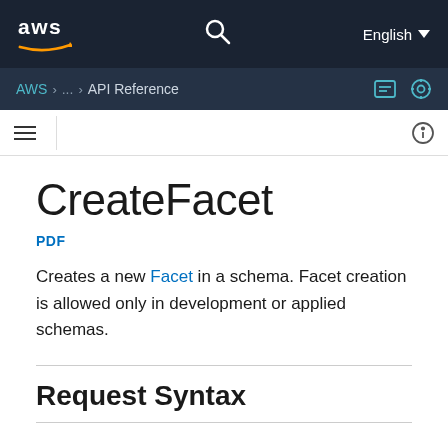AWS ... API Reference  English
CreateFacet
PDF
Creates a new Facet in a schema. Facet creation is allowed only in development or applied schemas.
Request Syntax